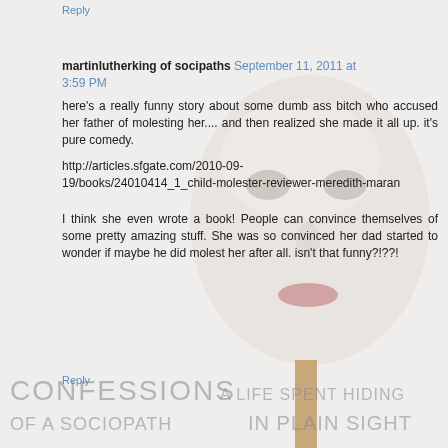Reply
[Figure (photo): Background image of a white mask on a stick, with book cover text overlay reading 'CONFESSIONS OF A SOCIOPATH A LIFE SPENT HIDING IN PLAIN SIGHT']
martinlutherking of socipaths  September 11, 2011 at 3:59 PM
here's a really funny story about some dumb ass bitch who accused her father of molesting her.... and then realized she made it all up. it's pure comedy.
http://articles.sfgate.com/2010-09-19/books/24010414_1_child-molester-reviewer-meredith-maran
I think she even wrote a book! People can convince themselves of some pretty amazing stuff. She was so convinced her dad started to wonder if maybe he did molest her after all. isn't that funny?!??!
Reply